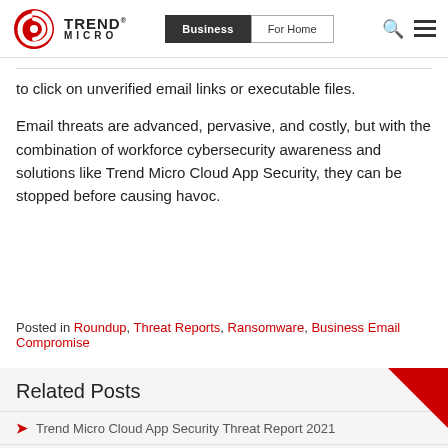Trend Micro | Business | For Home
to click on unverified email links or executable files.
Email threats are advanced, pervasive, and costly, but with the combination of workforce cybersecurity awareness and solutions like Trend Micro Cloud App Security, they can be stopped before causing havoc.
Posted in Roundup, Threat Reports, Ransomware, Business Email Compromise
Related Posts
Trend Micro Cloud App Security Threat Report 2021
Ransomware Spotlight: RansomEXX